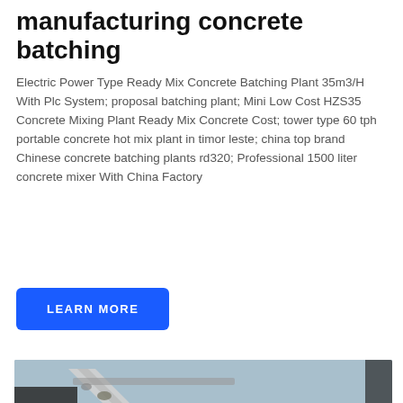manufacturing concrete batching
Electric Power Type Ready Mix Concrete Batching Plant 35m3/H With Plc System; proposal batching plant; Mini Low Cost HZS35 Concrete Mixing Plant Ready Mix Concrete Cost; tower type 60 tph portable concrete hot mix plant in timor leste; china top brand Chinese concrete batching plants rd320; Professional 1500 liter concrete mixer With China Factory
LEARN MORE
[Figure (photo): Aerial or close-up view of a concrete batching conveyor system with aggregate/crushed stone being transported, with steel framework visible against a sky background. A live chat overlay is visible at the bottom: 'Hey, we are live 24/7. How may I help you?' with a blue chat icon button.]